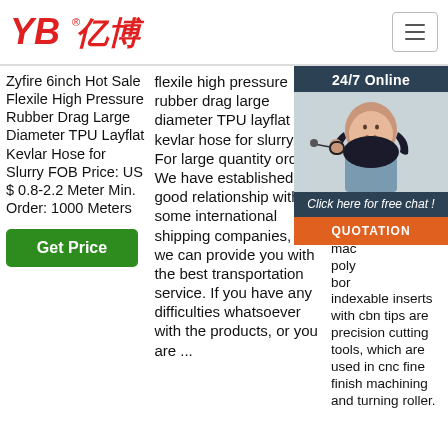[Figure (logo): YB亿博 company logo in red italic bold text with registered trademark symbol]
Zyfire 6inch Hot Sale Flexile High Pressure Rubber Drag Large Diameter TPU Layflat Kevlar Hose for Slurry FOB Price: US $ 0.8-2.2 Meter Min. Order: 1000 Meters
Get Price
flexile high pressure rubber drag large diameter TPU layflat kevlar hose for slurry. ... For large quantity orders We have established a good relationship with some international shipping companies, so we can provide you with the best transportation service. If you have any difficulties whatsoever with the products, or you are ...
2021 7 20u pcb deg sha turn me and the cutt mac poly bor indexable inserts with cbn tips are precision cutting tools, which are used in cnc fine finish machining and turning roller.
[Figure (photo): 24/7 Online customer service agent - woman with headset smiling, chat popup with QUOTATION button]